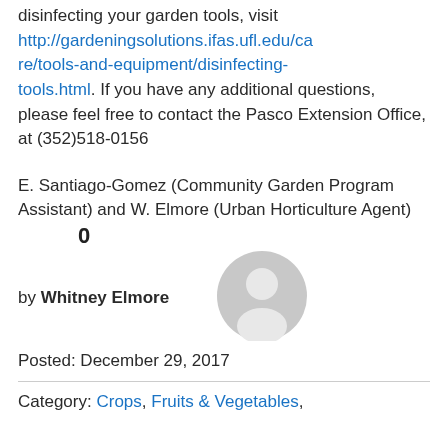disinfecting your garden tools, visit http://gardeningsolutions.ifas.ufl.edu/care/tools-and-equipment/disinfecting-tools.html. If you have any additional questions, please feel free to contact the Pasco Extension Office, at (352)518-0156
E. Santiago-Gomez (Community Garden Program Assistant) and W. Elmore (Urban Horticulture Agent)
0
[Figure (illustration): Generic user avatar icon - grey circle with person silhouette]
by Whitney Elmore
Posted: December 29, 2017
Category: Crops, Fruits & Vegetables,